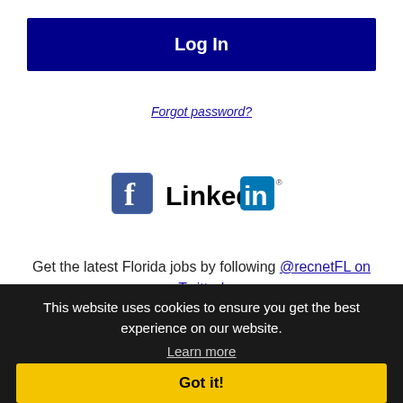Log In
Forgot password?
[Figure (logo): Facebook icon and LinkedIn logo side by side]
Get the latest Florida jobs by following @recnetFL on Twitter!
This website uses cookies to ensure you get the best experience on our website.
Learn more
Got it!
JOB SEEKERS